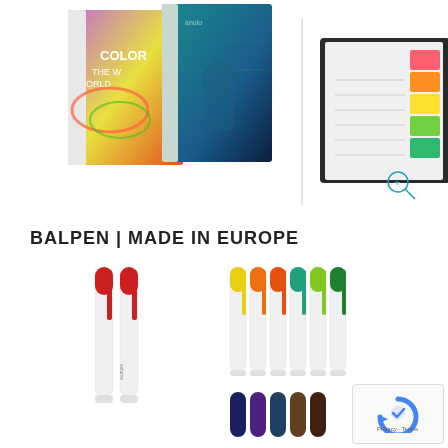[Figure (photo): Product photo showing two colorful notebooks/notepads with custom printed covers (one with 'COLOR THE WORLD' design, one with a blue photo cover) and a sticky note pad open showing colored index tabs.]
BALPEN | MADE IN EUROPE
[Figure (photo): Product photos of promotional ballpoint pens. Left: two white and red ballpoint pens (Prodir style). Right top: five white ballpoint pens with colored clip tops (yellow, orange, teal, green, dark green). Right bottom: five darker colored ballpoint pens (dark blue, purple, dark teal, brown/dark colors).]
[Figure (logo): Google reCAPTCHA badge in bottom right corner with the reCAPTCHA icon and 'Privacy · Terms' text.]